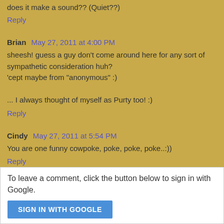does it make a sound?? (Quiet??)
Reply
Brian  May 27, 2011 at 4:00 PM
sheesh! guess a guy don't come around here for any sort of sympathetic consideration huh?
'cept maybe from "anonymous" :)

... I always thought of myself as Purty too! :)
Reply
Cindy  May 27, 2011 at 5:54 PM
You are one funny cowpoke, poke, poke, poke..:))
Reply
To leave a comment, click the button below to sign in with Google.
SIGN IN WITH GOOGLE